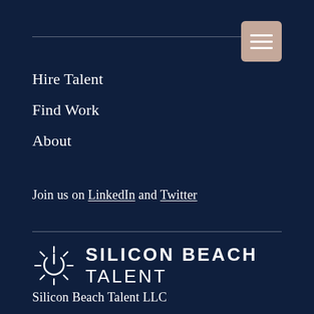Hire Talent
Find Work
About
Join us on LinkedIn and Twitter
[Figure (logo): Silicon Beach Talent logo with power/sun icon and bold uppercase text 'SILICON BEACH TALENT']
Silicon Beach Talent LLC